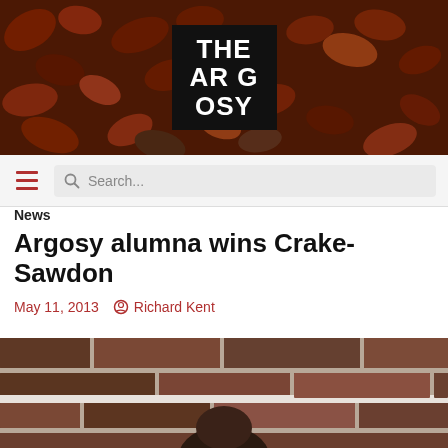[Figure (photo): The Argosy newspaper logo on autumn leaves background banner]
[Figure (screenshot): Navigation bar with hamburger menu and search box]
News
Argosy alumna wins Crake-Sawdon
May 11, 2013   Richard Kent
[Figure (photo): Photo of a person standing in front of a brick wall, partially cropped]